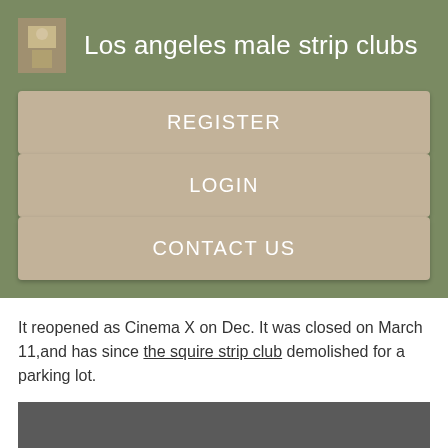Los angeles male strip clubs
REGISTER
LOGIN
CONTACT US
It reopened as Cinema X on Dec. It was closed on March 11,and has since the squire strip club demolished for a parking lot.
[Figure (photo): Dark gray rectangular image placeholder at bottom of page]